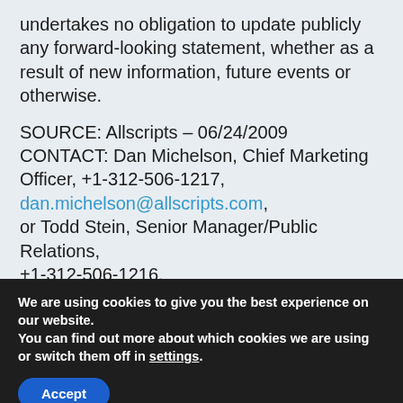undertakes no obligation to update publicly any forward-looking statement, whether as a result of new information, future events or otherwise.
SOURCE: Allscripts – 06/24/2009 CONTACT: Dan Michelson, Chief Marketing Officer, +1-312-506-1217, dan.michelson@allscripts.com, or Todd Stein, Senior Manager/Public Relations, +1-312-506-1216, todd.stein@allscripts.com,
We are using cookies to give you the best experience on our website. You can find out more about which cookies we are using or switch them off in settings.
Accept